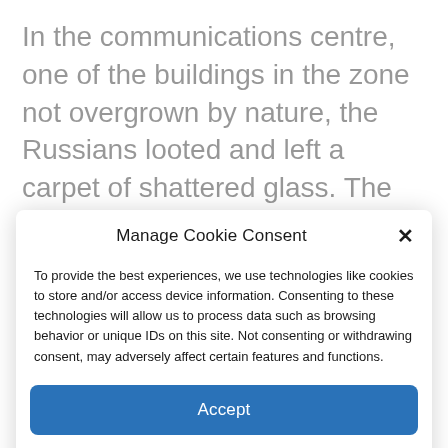In the communications centre, one of the buildings in the zone not overgrown by nature, the Russians looted and left a carpet of shattered glass. The building felt deeply of the 1980s, with a map on a wall still showing the Soviet Union. Someone at some point had taken a pink marker and traced
Manage Cookie Consent
To provide the best experiences, we use technologies like cookies to store and/or access device information. Consenting to these technologies will allow us to process data such as browsing behavior or unique IDs on this site. Not consenting or withdrawing consent, may adversely affect certain features and functions.
Accept
Cookie Policy